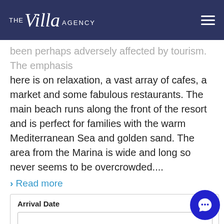THE Villa AGENCY
been perhaps adversely affected by tourism. The emphasis here is on relaxation, a vast array of cafes, a market and some fabulous restaurants. The main beach runs along the front of the resort and is perfect for families with the warm Mediterranean Sea and golden sand. The area from the Marina is wide and long so never seems to be overcrowded....
> Read more
| Arrival Date | Departure Date |
| --- | --- |
|  |  |